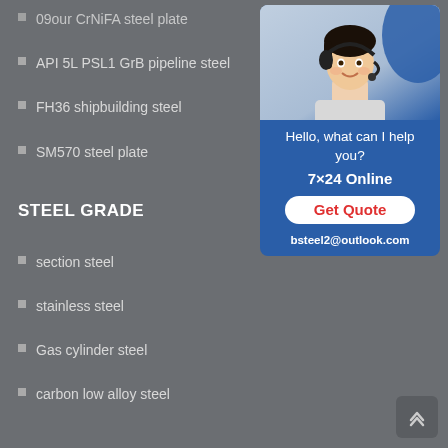09our CrNiFA steel plate
API 5L PSL1 GrB pipeline steel
FH36 shipbuilding steel
SM570 steel plate
STEEL GRADE
section steel
stainless steel
Gas cylinder steel
carbon low alloy steel
[Figure (photo): Customer service representative with headset, contact widget with '7x24 Online', 'Get Quote' button, and email bsteel2@outlook.com on blue background]